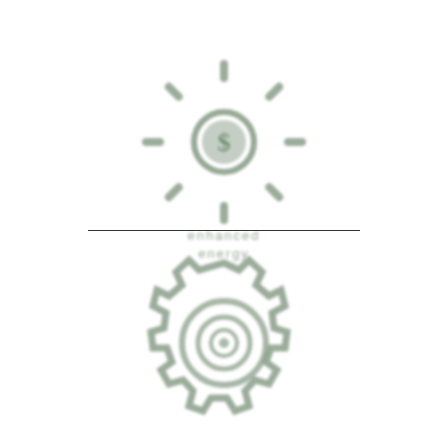[Figure (logo): A sun/light bulb icon with radiating rays, rendered in muted sage green, above two lines of text reading 'enhanced energy']
[Figure (logo): A gear/cog icon with concentric circles in the center, rendered in muted sage green]